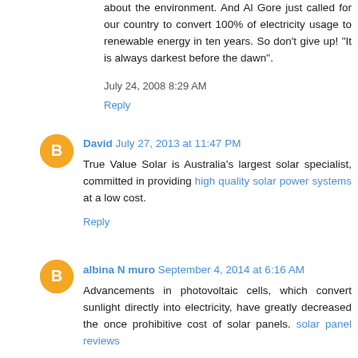about the environment. And Al Gore just called for our country to convert 100% of electricity usage to renewable energy in ten years. So don't give up! "It is always darkest before the dawn".
July 24, 2008 8:29 AM
Reply
David  July 27, 2013 at 11:47 PM
True Value Solar is Australia's largest solar specialist, committed in providing high quality solar power systems at a low cost.
Reply
albina N muro  September 4, 2014 at 6:16 AM
Advancements in photovoltaic cells, which convert sunlight directly into electricity, have greatly decreased the once prohibitive cost of solar panels. solar panel reviews